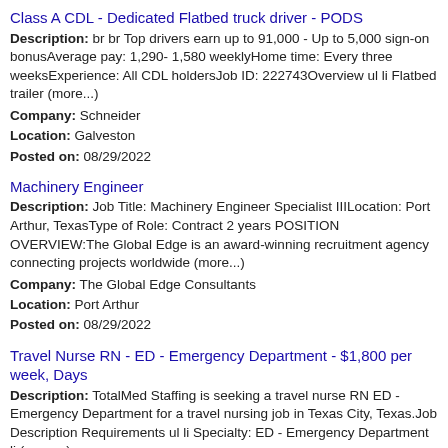Class A CDL - Dedicated Flatbed truck driver - PODS
Description: br br Top drivers earn up to 91,000 - Up to 5,000 sign-on bonusAverage pay: 1,290- 1,580 weeklyHome time: Every three weeksExperience: All CDL holdersJob ID: 222743Overview ul li Flatbed trailer (more...)
Company: Schneider
Location: Galveston
Posted on: 08/29/2022
Machinery Engineer
Description: Job Title: Machinery Engineer Specialist IIILocation: Port Arthur, TexasType of Role: Contract 2 years POSITION OVERVIEW:The Global Edge is an award-winning recruitment agency connecting projects worldwide (more...)
Company: The Global Edge Consultants
Location: Port Arthur
Posted on: 08/29/2022
Travel Nurse RN - ED - Emergency Department - $1,800 per week, Days
Description: TotalMed Staffing is seeking a travel nurse RN ED - Emergency Department for a travel nursing job in Texas City, Texas.Job Description Requirements ul li Specialty: ED - Emergency Department li (more...)